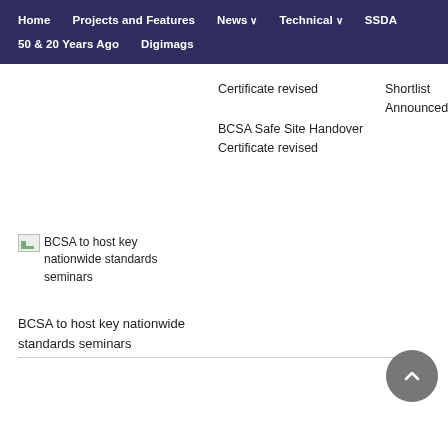Home   Projects and Features   News   Technical   SSDA   50 & 20 Years Ago   Digimags
Certificate revised
BCSA Safe Site Handover Certificate revised
Shortlist Announced
[Figure (illustration): Broken image placeholder for BCSA to host key nationwide standards seminars article]
BCSA to host key nationwide standards seminars